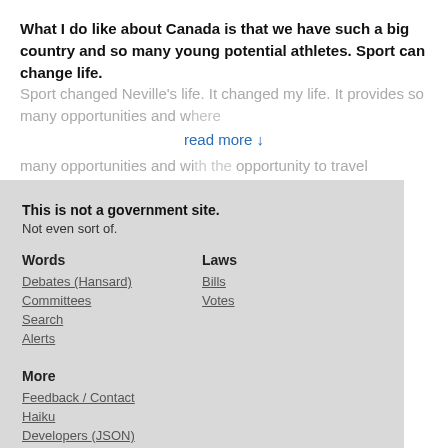What I do like about Canada is that we have such a big country and so many young potential athletes. Sport can change life. Sport changed Neville's life. It changed my life. It provides so many opportunities and w... opportunity to travel
read more ↓
« Previous  7  Next »
This is not a government site. Not even sort of.
Words
Debates (Hansard)
Committees
Search
Alerts
Laws
Bills
Votes
More
Feedback / Contact
Haiku
Developers (JSON)